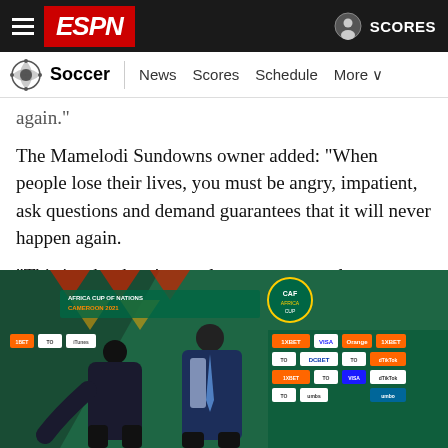ESPN - Soccer | News  Scores  Schedule  More
again."
The Mamelodi Sundowns owner added: "When people lose their lives, you must be angry, impatient, ask questions and demand guarantees that it will never happen again.
"This is why there's no tolerance -- zero tolerance -- around the circumstances [of Monday's tragedy]."
[Figure (photo): Two men in suits bowing their heads in front of an Africa Cup of Nations Cameroon 2021 backdrop with sponsor logos including VISA, DCBET, 1XBET, TikTok, and others.]